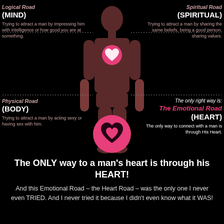[Figure (infographic): Infographic showing a human body silhouette with a pink heart on the chest. Four quadrants label different 'roads': Logical Road (MIND) top-left, Spiritual Road (SPIRITUAL) top-right, Physical Road (BODY) bottom-left, and The Emotional Road (HEART) bottom-right. Dotted lines divide the sections. A large pink heart icon appears below the body figure.]
The ONLY way to a man's heart is through his HEART!
And this Emotional Road – the Heart Road – was the only one I never even TRIED. And I never tried it because I didn't even know what it WAS! ...